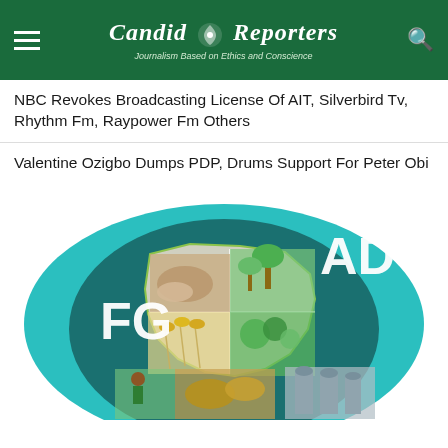Candid Reporters — Journalism Based on Ethics and Conscience
NBC Revokes Broadcasting License Of AIT, Silverbird Tv, Rhythm Fm, Raypower Fm Others
Valentine Ozigbo Dumps PDP, Drums Support For Peter Obi
[Figure (illustration): FGNAD logo with a circular teal background, Nigeria map silhouette divided into quadrants showing various agricultural products including cassava, crops, rice, vegetables, grain storage silos, and a farmer. Text 'FG' on left and 'AD' on right in white letters.]